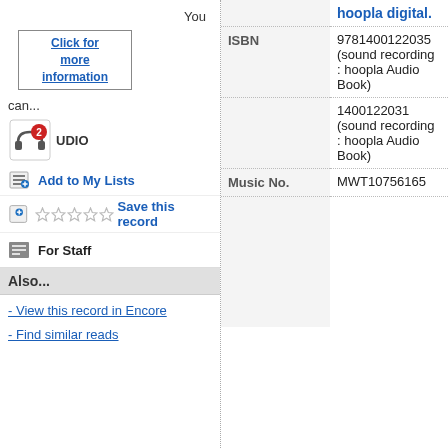hoopla digital.
| ISBN | 9781400122035 (sound recording : hoopla Audio Book) |
|  | 1400122031 (sound recording : hoopla Audio Book) |
| Music No. | MWT10756165 |
You can...
[Figure (screenshot): Click for more information button/link box]
[Figure (logo): Audio book badge icon with headphones and number 2]
Add to My Lists
Save this record
For Staff
Also...
- View this record in Encore
- Find similar reads